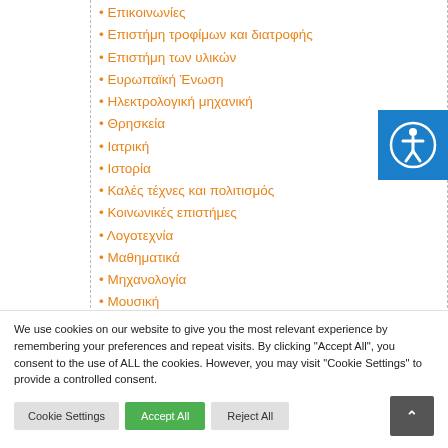• Επικοινωνίες
• Επιστήμη τροφίμων και διατροφής
• Επιστήμη των υλικών
• Ευρωπαϊκή Ένωση
• Ηλεκτρολογική μηχανική
• Θρησκεία
• Ιατρική
• Ιστορία
• Καλές τέχνες και πολιτισμός
• Κοινωνικές επιστήμες
• Λογοτεχνία
• Μαθηματικά
• Μηχανολογία
• Μουσική
• Νομικές επιστήμες
• Οικονομικές επιστήμες
• Περιβάλλον
We use cookies on our website to give you the most relevant experience by remembering your preferences and repeat visits. By clicking "Accept All", you consent to the use of ALL the cookies. However, you may visit "Cookie Settings" to provide a controlled consent.